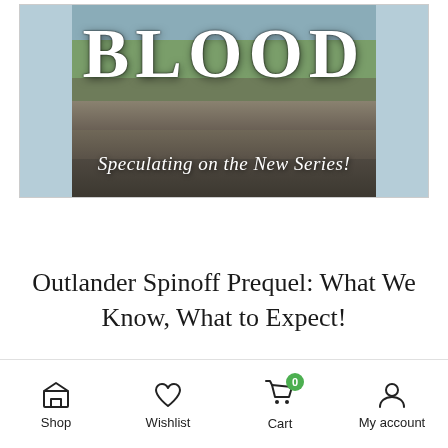[Figure (illustration): Banner image with rocky highland landscape background. Large bold text 'BLOOD' at top, italic script subtitle 'Speculating on the New Series!' below. Pale blue side bars on left and right.]
Outlander Spinoff Prequel: What We Know, What to Expect!
Shop | Wishlist | Cart (0) | My account